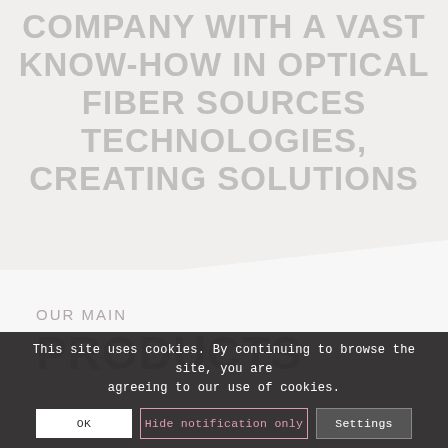COMPANY WITH A VAST KNOW-HOW IN OPTICAL FIBER SOURCES TECHNOLOGIES, CREATING SOLUTIONS TO CUSTOMER NEEDS.
OUR MAIN
PRODUCTS
This site uses cookies. By continuing to browse the site, you are agreeing to our use of cookies.
OK
Hide notification only
Settings